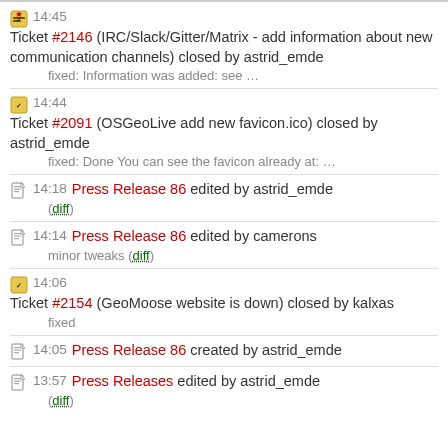14:45 Ticket #2146 (IRC/Slack/Gitter/Matrix - add information about new communication channels) closed by astrid_emde
fixed: Information was added: see …
14:44 Ticket #2091 (OSGeoLive add new favicon.ico) closed by astrid_emde
fixed: Done You can see the favicon already at: …
14:18 Press Release 86 edited by astrid_emde
(diff)
14:14 Press Release 86 edited by camerons
minor tweaks (diff)
14:06 Ticket #2154 (GeoMoose website is down) closed by kalxas
fixed
14:05 Press Release 86 created by astrid_emde
13:57 Press Releases edited by astrid_emde
(diff)